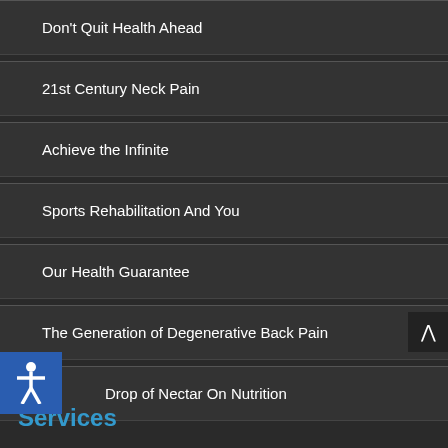Don't Quit Health Ahead
21st Century Neck Pain
Achieve the Infinite
Sports Rehabilitation And You
Our Health Guarantee
The Generation of Degenerative Back Pain
Drop of Nectar On Nutrition
Services